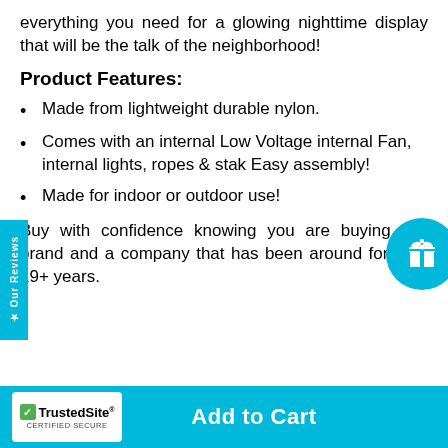everything you need for a glowing nighttime display that will be the talk of the neighborhood!
Product Features:
Made from lightweight durable nylon.
Comes with an internal Low Voltage internal Fan, internal lights, ropes & stak Easy assembly!
Made for indoor or outdoor use!
Buy with confidence knowing you are buying this brand and a company that has been around for over 19+ years.
TrustedSite CERTIFIED SECURE   Add to Cart